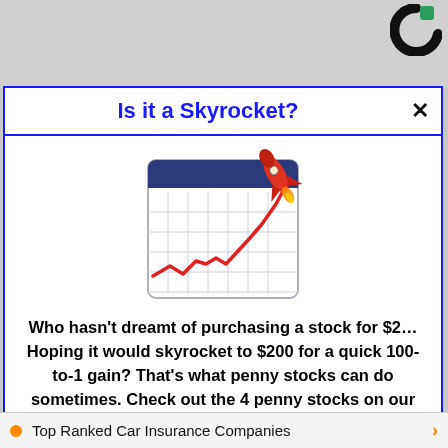[Figure (other): Taboola logo partial circle in black and green, top right corner]
Is it a Skyrocket?
[Figure (illustration): Calendar icon showing a stock chart with a red rising line and a rocket launching from it, on a grid background with dark blue header bar]
Who hasn't dreamt of purchasing a stock for $2… Hoping it would skyrocket to $200 for a quick 100-to-1 gain? That's what penny stocks can do sometimes. Check out the 4 penny stocks on our watchlist here.
>>> See The List <<<
Top Ranked Car Insurance Companies